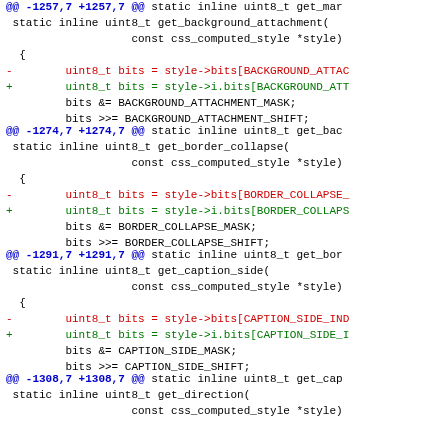@@ -1257,7 +1257,7 @@ static inline uint8_t get_mar
 static inline uint8_t get_background_attachment(
                     const css_computed_style *style)
  {
-        uint8_t bits = style->bits[BACKGROUND_ATTAC
+        uint8_t bits = style->i.bits[BACKGROUND_ATT
         bits &= BACKGROUND_ATTACHMENT_MASK;
         bits >>= BACKGROUND_ATTACHMENT_SHIFT;
@@ -1274,7 +1274,7 @@ static inline uint8_t get_bac
 static inline uint8_t get_border_collapse(
                     const css_computed_style *style)
  {
-        uint8_t bits = style->bits[BORDER_COLLAPSE_
+        uint8_t bits = style->i.bits[BORDER_COLLAPS
         bits &= BORDER_COLLAPSE_MASK;
         bits >>= BORDER_COLLAPSE_SHIFT;
@@ -1291,7 +1291,7 @@ static inline uint8_t get_bor
 static inline uint8_t get_caption_side(
                     const css_computed_style *style)
  {
-        uint8_t bits = style->bits[CAPTION_SIDE_IND
+        uint8_t bits = style->i.bits[CAPTION_SIDE_I
         bits &= CAPTION_SIDE_MASK;
         bits >>= CAPTION_SIDE_SHIFT;
@@ -1308,7 +1308,7 @@ static inline uint8_t get_cap
 static inline uint8_t get_direction(
                     const css_computed_style *style)